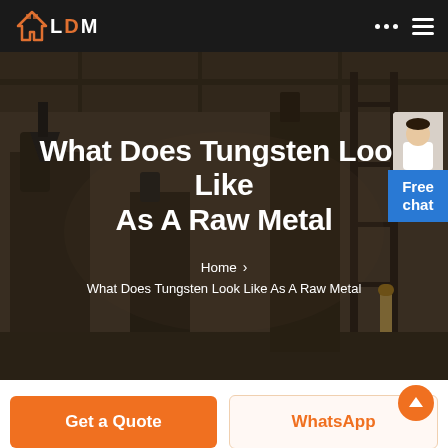LDM
What Does Tungsten Look Like As A Raw Metal
Home > What Does Tungsten Look Like As A Raw Metal
[Figure (photo): Industrial factory/warehouse interior with machinery, scaffolding, and equipment, used as hero background image]
Get a Quote
WhatsApp